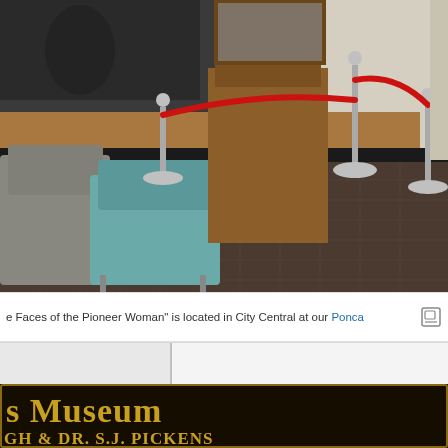[Figure (photo): Interior of a library or civic building lobby showing grey and teal upholstered seating chairs on the left, a large wooden podium/lectern in the center, red velvet rope barriers on chrome stanchions, dark tile flooring, and a large artwork or mural partially visible on the upper left wall.]
e Faces of the Pioneer Woman" is located in City Central at our Ponca
[Figure (photo): Close-up of a dark museum sign with gold text reading 's Museum' on first line and 'GH & DR. S.J. PICKENS' on second line, with a gold border frame on dark background.]